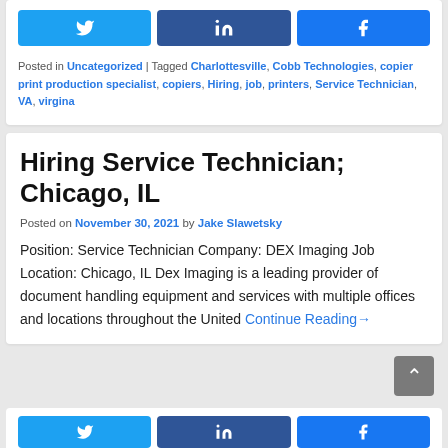[Figure (other): Social share buttons row: Twitter, LinkedIn, Facebook]
Posted in Uncategorized | Tagged Charlottesville, Cobb Technologies, copier print production specialist, copiers, Hiring, job, printers, Service Technician, VA, virgina
Hiring Service Technician; Chicago, IL
Posted on November 30, 2021 by Jake Slawetsky
Position: Service Technician Company: DEX Imaging Job Location: Chicago, IL Dex Imaging is a leading provider of document handling equipment and services with multiple offices and locations throughout the United Continue Reading→
[Figure (other): Social share buttons row (partial): Twitter, LinkedIn, Facebook]